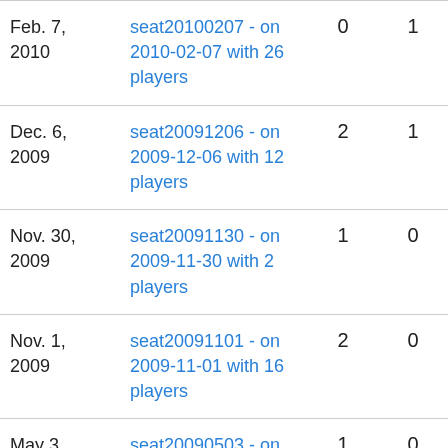| Date | Session | Col3 | Col4 |
| --- | --- | --- | --- |
| Feb. 7, 2010 | seat20100207 - on 2010-02-07 with 26 players | 0 | 1 |
| Dec. 6, 2009 | seat20091206 - on 2009-12-06 with 12 players | 2 | 1 |
| Nov. 30, 2009 | seat20091130 - on 2009-11-30 with 2 players | 1 | 0 |
| Nov. 1, 2009 | seat20091101 - on 2009-11-01 with 16 players | 2 | 0 |
| May 3, 2009 | seat20090503 - on 2009-05-03 with 19 | 1 | 0 |